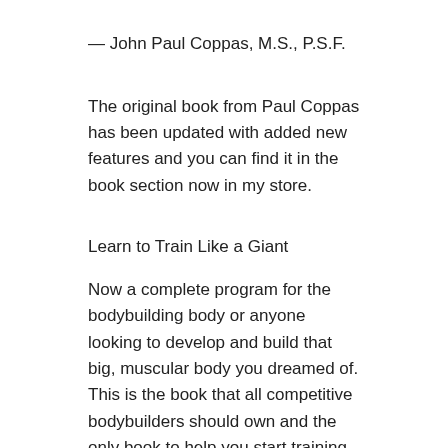— John Paul Coppas, M.S., P.S.F.
The original book from Paul Coppas has been updated with added new features and you can find it in the book section now in my store.
Learn to Train Like a Giant
Now a complete program for the bodybuilding body or anyone looking to develop and build that big, muscular body you dreamed of. This is the book that all competitive bodybuilders should own and the only book to help you start training in order to succeed in the field.